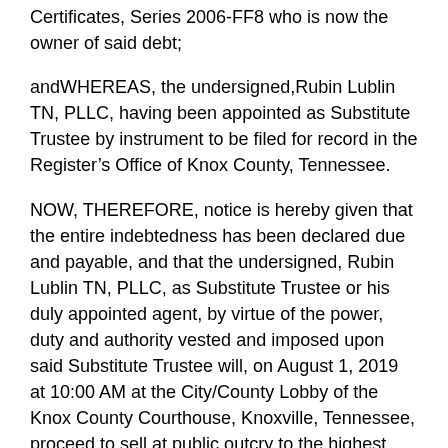Certificates, Series 2006-FF8 who is now the owner of said debt;
andWHEREAS, the undersigned,Rubin Lublin TN, PLLC, having been appointed as Substitute Trustee by instrument to be filed for record in the Register's Office of Knox County, Tennessee.
NOW, THEREFORE, notice is hereby given that the entire indebtedness has been declared due and payable, and that the undersigned, Rubin Lublin TN, PLLC, as Substitute Trustee or his duly appointed agent, by virtue of the power, duty and authority vested and imposed upon said Substitute Trustee will, on August 1, 2019 at 10:00 AM at the City/County Lobby of the Knox County Courthouse, Knoxville, Tennessee, proceed to sell at public outcry to the highest